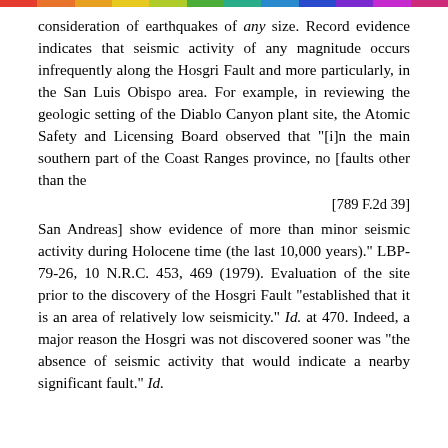rainbow bar
consideration of earthquakes of any size. Record evidence indicates that seismic activity of any magnitude occurs infrequently along the Hosgri Fault and more particularly, in the San Luis Obispo area. For example, in reviewing the geologic setting of the Diablo Canyon plant site, the Atomic Safety and Licensing Board observed that "[i]n the main southern part of the Coast Ranges province, no [faults other than the
[789 F.2d 39]
San Andreas] show evidence of more than minor seismic activity during Holocene time (the last 10,000 years)." LBP-79-26, 10 N.R.C. 453, 469 (1979). Evaluation of the site prior to the discovery of the Hosgri Fault "established that it is an area of relatively low seismicity." Id. at 470. Indeed, a major reason the Hosgri was not discovered sooner was "the absence of seismic activity that would indicate a nearby significant fault." Id.